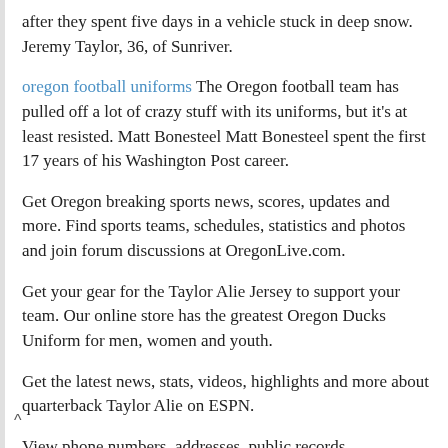after they spent five days in a vehicle stuck in deep snow. Jeremy Taylor, 36, of Sunriver.
oregon football uniforms The Oregon football team has pulled off a lot of crazy stuff with its uniforms, but it's at least resisted. Matt Bonesteel Matt Bonesteel spent the first 17 years of his Washington Post career.
Get Oregon breaking sports news, scores, updates and more. Find sports teams, schedules, statistics and photos and join forum discussions at OregonLive.com.
Get your gear for the Taylor Alie Jersey to support your team. Our online store has the greatest Oregon Ducks Uniform for men, women and youth.
Get the latest news, stats, videos, highlights and more about quarterback Taylor Alie on ESPN.
View phone numbers, addresses, public records,